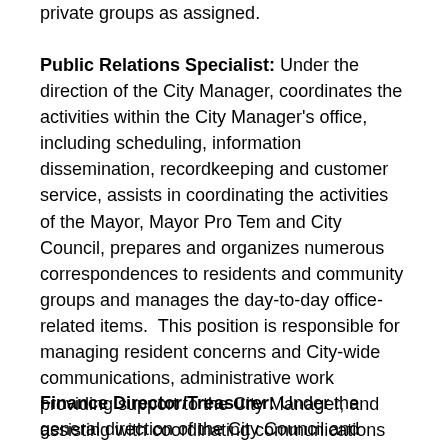private groups as assigned.
Public Relations Specialist: Under the direction of the City Manager, coordinates the activities within the City Manager's office, including scheduling, information dissemination, recordkeeping and customer service, assists in coordinating the activities of the Mayor, Mayor Pro Tem and City Council, prepares and organizes numerous correspondences to residents and community groups and manages the day-to-day office-related items.  This position is responsible for managing resident concerns and City-wide communications, administrative work providing support to the City Manager, and assisting with coordinating communications and programming.
Finance Director/Treasurer: Under the general direction of the City Council and